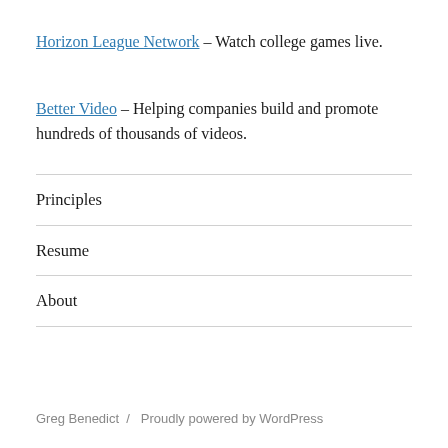Horizon League Network – Watch college games live.
Better Video – Helping companies build and promote hundreds of thousands of videos.
Principles
Resume
About
Greg Benedict  /  Proudly powered by WordPress